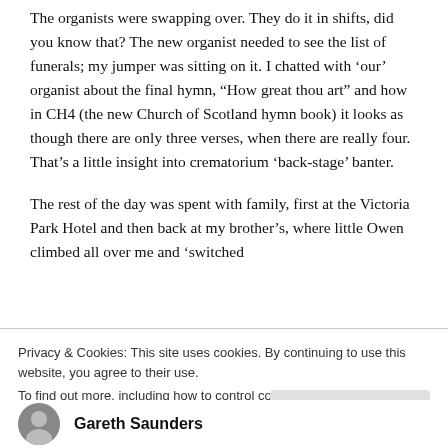The organists were swapping over. They do it in shifts, did you know that? The new organist needed to see the list of funerals; my jumper was sitting on it. I chatted with ‘our’ organist about the final hymn, “How great thou art” and how in CH4 (the new Church of Scotland hymn book) it looks as though there are only three verses, when there are really four. That’s a little insight into crematorium ‘back-stage’ banter.
The rest of the day was spent with family, first at the Victoria Park Hotel and then back at my brother’s, where little Owen climbed all over me and ‘switched
Privacy & Cookies: This site uses cookies. By continuing to use this website, you agree to their use.
To find out more, including how to control cookies, see here: Cookie Policy
Close and accept
Gareth Saunders